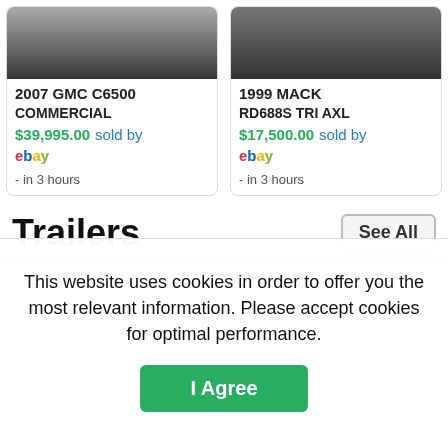[Figure (photo): Photo of a 2007 GMC C6500 Commercial truck - bottom portion showing wheel]
[Figure (photo): Photo of a 1999 MACK tri-axle truck - top portion showing dirt/terrain]
2007 GMC C6500
COMMERCIAL
$39,995.00 sold by
ebay
- in 3 hours
1999 MACK
RD688S TRI AXL
$17,500.00 sold by
ebay
- in 3 hours
Trailers
See All
This website uses cookies in order to offer you the most relevant information. Please accept cookies for optimal performance.
I Agree